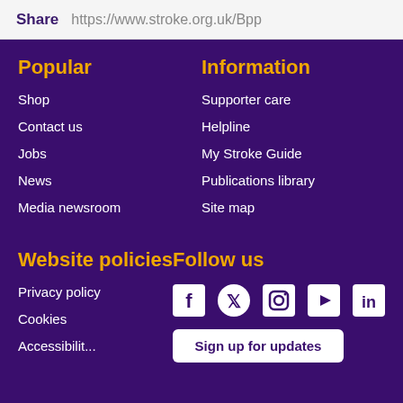Share  https://www.stroke.org.uk/Bpp
Popular
Shop
Contact us
Jobs
News
Media newsroom
Information
Supporter care
Helpline
My Stroke Guide
Publications library
Site map
Website policies
Privacy policy
Cookies
Accessibility
Follow us
[Figure (infographic): Social media icons: Facebook, Twitter, Instagram, YouTube, LinkedIn]
Sign up for updates